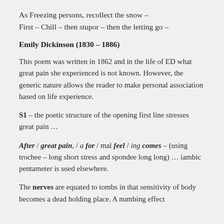As Freezing persons, recollect the snow –
First – Chill – then stupor – then the letting go –
Emily Dickinson (1830 – 1886)
This poem was written in 1862 and in the life of ED what great pain she experienced is not known. However, the generic nature allows the reader to make personal association based on life experience.
S1 – the poetic structure of the opening first line stresses great pain …
After / great pain, / a for / mal feel / ing comes – (using trochee – long short stress and spondee long long) … iambic pentameter is used elsewhere.
The nerves are equated to tombs in that sensitivity of body becomes a dead holding place. A numbing effect